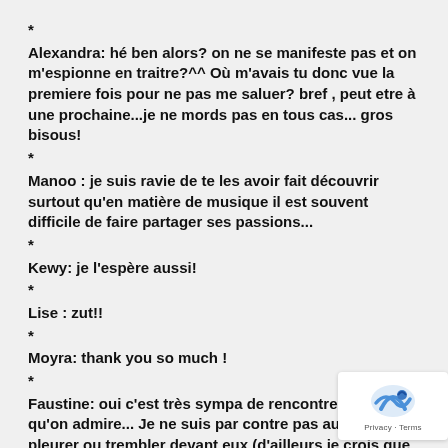*
Alexandra: hé ben alors? on ne se manifeste pas et on m'espionne en traitre?^^ Où m'avais tu donc vue la premiere fois pour ne pas me saluer? bref , peut etre à une prochaine...je ne mords pas en tous cas... gros bisous!
*
Manoo : je suis ravie de te les avoir fait découvrir surtout qu'en matière de musique il est souvent difficile de faire partager ses passions...
*
Kewy: je l'espère aussi!
*
Lise : zut!!
*
Moyra: thank you so much !
*
Faustine: oui c'est très sympa de rencontrer quelqu'un qu'on admire... Je ne suis par contre pas au stade de pleurer ou trembler devant eux (d'ailleurs je crois que je n'ai jamais eu cette émotion vis a vis d'une célébrité) mais il est vrai que ça fait bizarre de les voir en vrai...Et plaisir de leur dire ce qu'on pense d'eux sachant qu'ecoute tt le temps!
sinon pas grave que tu ne sois pas fan... je peux le